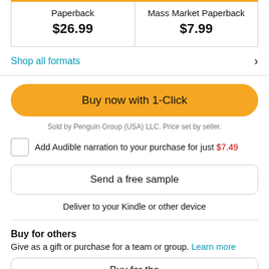| Paperback | Mass Market Paperback |
| --- | --- |
| $26.99 | $7.99 |
Shop all formats >
Buy now with 1-Click
Sold by Penguin Group (USA) LLC. Price set by seller.
Add Audible narration to your purchase for just $7.49
Send a free sample
Deliver to your Kindle or other device
Buy for others
Give as a gift or purchase for a team or group. Learn more
Buy for the...